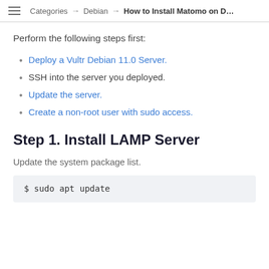Categories → Debian → How to Install Matomo on D...
Perform the following steps first:
Deploy a Vultr Debian 11.0 Server.
SSH into the server you deployed.
Update the server.
Create a non-root user with sudo access.
Step 1. Install LAMP Server
Update the system package list.
$ sudo apt update